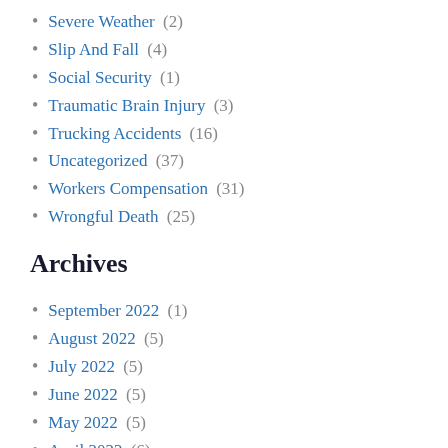Severe Weather (2)
Slip And Fall (4)
Social Security (1)
Traumatic Brain Injury (3)
Trucking Accidents (16)
Uncategorized (37)
Workers Compensation (31)
Wrongful Death (25)
Archives
September 2022 (1)
August 2022 (5)
July 2022 (5)
June 2022 (5)
May 2022 (5)
April 2022 (6)
March 2022 (5)